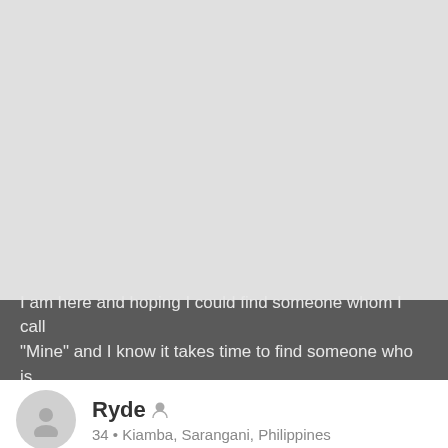[Figure (photo): Large light gray placeholder image area occupying the top portion of the card]
I am here and hoping I could find someone whom I call "Mine" and I know it takes time to find someone who is…
Ryde
34 • Kiamba, Sarangani, Philippines